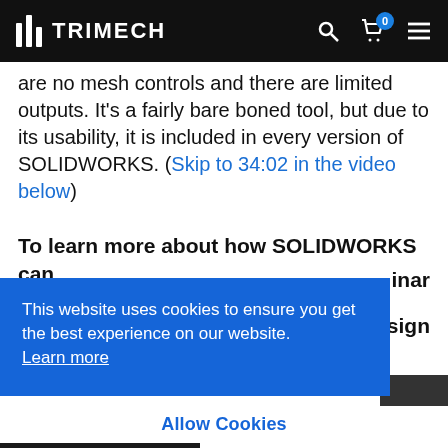TRIMECH
are no mesh controls and there are limited outputs. It's a fairly bare boned tool, but due to its usability, it is included in every version of SOLIDWORKS. (Skip to 34:02 in the video below)
To learn more about how SOLIDWORKS can
inar
sign
This website uses cookies to ensure you get the best experience on our website. Learn more
Allow Cookies